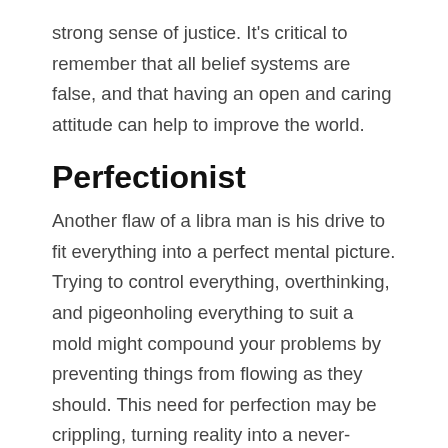strong sense of justice. It's critical to remember that all belief systems are false, and that having an open and caring attitude can help to improve the world.
Perfectionist
Another flaw of a libra man is his drive to fit everything into a perfect mental picture. Trying to control everything, overthinking, and pigeonholing everything to suit a mold might compound your problems by preventing things from flowing as they should. This need for perfection may be crippling, turning reality into a never-ending conflict.
Rather of striving for perfection, you must allow the terrible, enraging, exciting, and imperfect aspects of life to